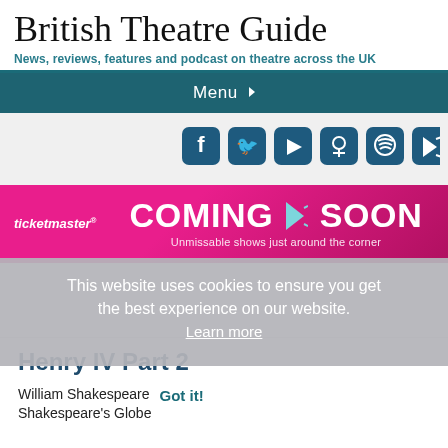British Theatre Guide
News, reviews, features and podcast on theatre across the UK
Menu
[Figure (infographic): Social media icons row: Facebook, Twitter, YouTube, Podcast, Spotify, Google Play]
[Figure (infographic): Ticketmaster advertisement banner: 'COMING SOON — Unmissable shows just around the corner']
This website uses cookies to ensure you get the best experience on our website. Learn more
Henry IV Part 2
William Shakespeare
Shakespeare's Globe
Got it!